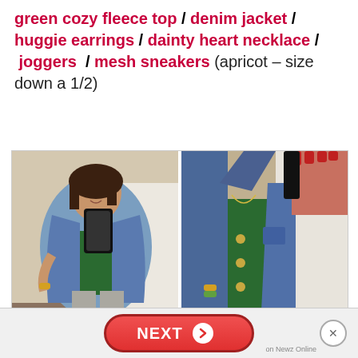green cozy fleece top / denim jacket / huggie earrings / dainty heart necklace / joggers / mesh sneakers (apricot – size down a 1/2)
[Figure (photo): Two mirror selfie photos side by side of a woman wearing a denim jacket over a green top with gray joggers, holding a black phone.]
[Figure (infographic): Advertisement bar at the bottom with a red NEXT button with arrow, an X close button, and 'on Newz Online' label.]